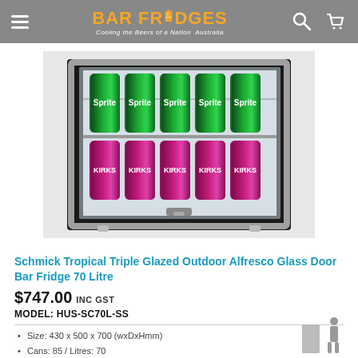Bar Fridges - Cooling the Beers of a Nation - Australia
[Figure (photo): Bar fridge with glass door open showing shelves stocked with Sprite cans (top shelf, blue/green) and Kirks cans (bottom shelf, pink/magenta). Stainless steel frame, black cabinet body, lock at bottom.]
Schmick Tropical Triple Glazed Outdoor Alfresco Glass Door Bar Fridge 70 Litre
$747.00 Inc GST
MODEL: HUS-SC70L-SS
Size: 430 x 500 x 700 (wxDxHmm)
Cans: 85 / Litres: 70
Location: Indoor Or Outdoor
Hinged: Left Hinged
Brand: Schmick